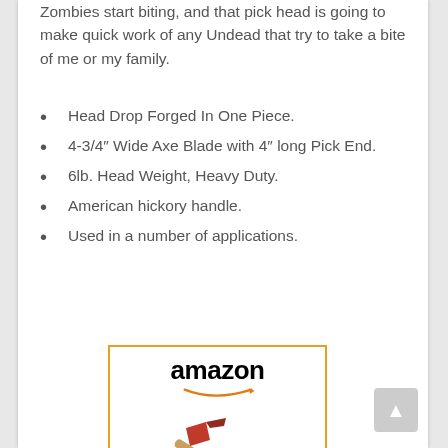Zombies start biting, and that pick head is going to make quick work of any Undead that try to take a bite of me or my family.
Head Drop Forged In One Piece.
4-3/4″ Wide Axe Blade with 4″ long Pick End.
6lb. Head Weight, Heavy Duty.
American hickory handle.
Used in a number of applications.
[Figure (screenshot): Amazon product advertisement widget showing a 6-Lbs Fireman Axe - Pick Axe with Amazon logo, product image of an axe, product title in blue text, and a 'Shop now' button with Amazon 'a' logo on gold background.]